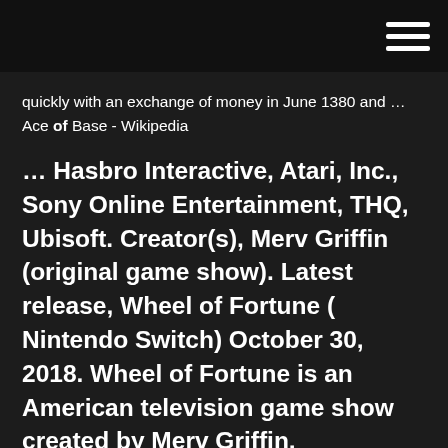[hamburger menu icon]
quickly with an exchange of money in June 1380 and … Ace of Base - Wikipedia
… Hasbro Interactive, Atari, Inc., Sony Online Entertainment, THQ, Ubisoft. Creator(s), Merv Griffin (original game show). Latest release, Wheel of Fortune ( Nintendo Switch) October 30, 2018. Wheel of Fortune is an American television game show created by Merv Griffin, premiering in … A "Deluxe Edition" was also released for the Super NES in 1994.
NES hra Wheel of Fortune: Family Edition je herního žánru puzzle vydaná v roce 1990 vývojářem Rare Wheel of Fortune: Family Edition 1990 Some more text continues...